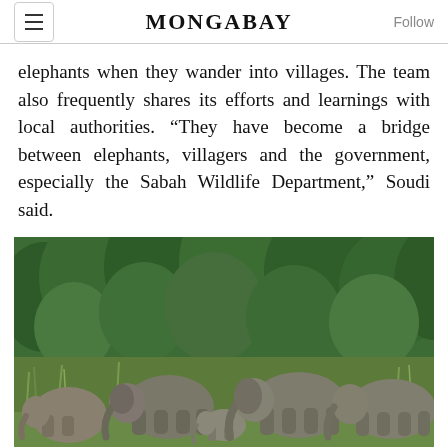MONGABAY
elephants when they wander into villages. The team also frequently shares its efforts and learnings with local authorities. “They have become a bridge between elephants, villagers and the government, especially the Sabah Wildlife Department,” Soudi said.
[Figure (photo): A herd of Borneo pygmy elephants standing in tall grass at the edge of a tropical rainforest with dense green trees in the background.]